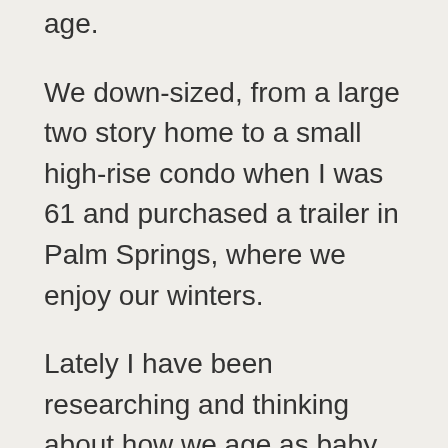age.
We down-sized, from a large two story home to a small high-rise condo when I was 61 and purchased a trailer in Palm Springs, where we enjoy our winters.
Lately I have been researching and thinking about how we age as baby boomers. I've talked to many seniors, healthcare professionals